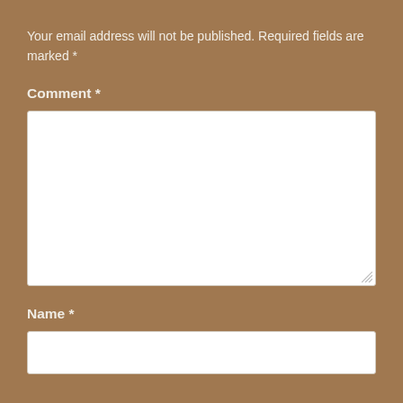Your email address will not be published. Required fields are marked *
Comment *
[Figure (other): Empty comment text area input field with white background and resize handle]
Name *
[Figure (other): Empty name text input field with white background]